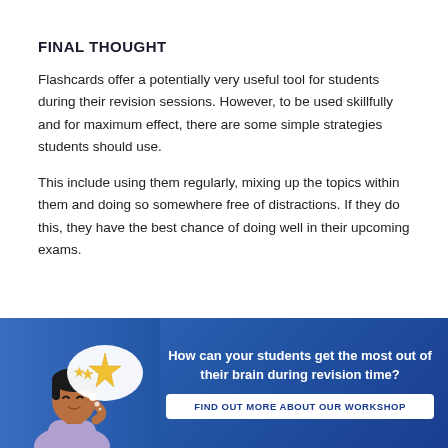FINAL THOUGHT
Flashcards offer a potentially very useful tool for students during their revision sessions. However, to be used skillfully and for maximum effect, there are some simple strategies students should use.
This include using them regularly, mixing up the topics within them and doing so somewhere free of distractions. If they do this, they have the best chance of doing well in their upcoming exams.
[Figure (illustration): Banner with blue gradient background showing a cartoon illustration of a student thinking (with thought bubble containing stars) on the left, and text 'How can your students get the most out of their brain during revision time?' with a white button 'FIND OUT MORE ABOUT OUR WORKSHOP' on the right.]